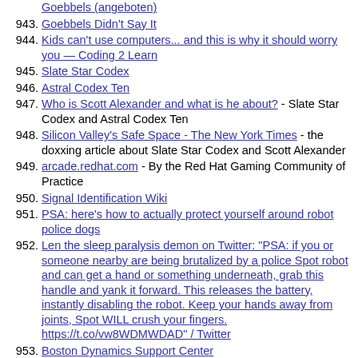Goebbels (angeboten)
943. Goebbels Didn't Say It
944. Kids can't use computers... and this is why it should worry you — Coding 2 Learn
945. Slate Star Codex
946. Astral Codex Ten
947. Who is Scott Alexander and what is he about? - Slate Star Codex and Astral Codex Ten
948. Silicon Valley's Safe Space - The New York Times - the doxxing article about Slate Star Codex and Scott Alexander
949. arcade.redhat.com - By the Red Hat Gaming Community of Practice
950. Signal Identification Wiki
951. PSA: here's how to actually protect yourself around robot police dogs
952. Len the sleep paralysis demon on Twitter: "PSA: if you or someone nearby are being brutalized by a police Spot robot and can get a hand or something underneath, grab this handle and yank it forward. This releases the battery, instantly disabling the robot. Keep your hands away from joints, Spot WILL crush your fingers. https://t.co/vw8WDMWDAD" / Twitter
953. Boston Dynamics Support Center
954. Spot Safety: Safety In Operation - YouTube
955. BP created 'carbon footprint' as a devious, manipulative PR tactic